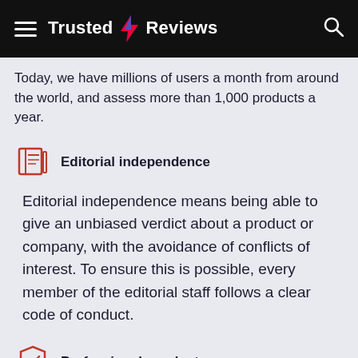Trusted Reviews
Today, we have millions of users a month from around the world, and assess more than 1,000 products a year.
Editorial independence
Editorial independence means being able to give an unbiased verdict about a product or company, with the avoidance of conflicts of interest. To ensure this is possible, every member of the editorial staff follows a clear code of conduct.
Professional conduct
We also expect our journalists to follow clear ethical standards in their work. Our staff members must strive for honesty and accuracy